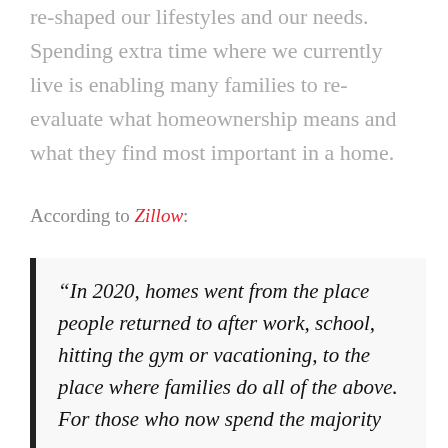re-shaped our lifestyles and our needs. Spending extra time where we currently live is enabling many families to re-evaluate what homeownership means and what they find most important in a home.
According to Zillow:
“In 2020, homes went from the place people returned to after work, school, hitting the gym or vacationing, to the place where families do all of the above. For those who now spend the majority